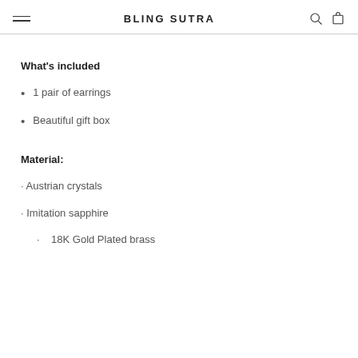BLING SUTRA
What's included
1 pair of earrings
Beautiful gift box
Material:
Austrian crystals
Imitation sapphire
18K Gold Plated brass